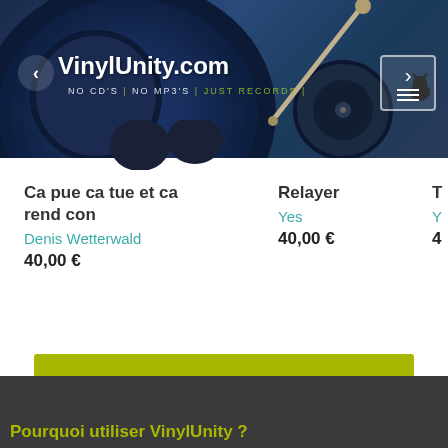VinylUnity.com — NO CD'S | NO MP3'S | JUST RECORDS |
Ca pue ca tue et ca rend con
Denis Wetterwald
40,00 €
Relayer
Yes
40,00 €
T…
Y…
4…
Voir tous les disques du vendeur
Pourquoi utiliser VinylUnity ?